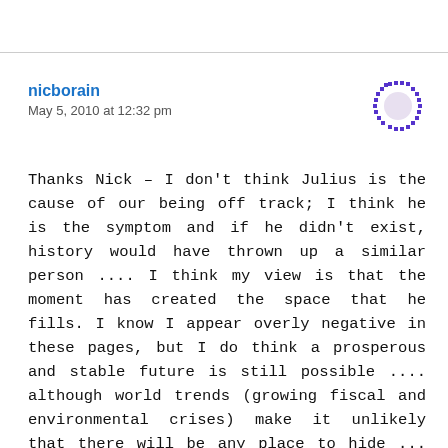nicborain
May 5, 2010 at 12:32 pm
Thanks Nick – I don't think Julius is the cause of our being off track; I think he is the symptom and if he didn't exist, history would have thrown up a similar person .... I think my view is that the moment has created the space that he fills. I know I appear overly negative in these pages, but I do think a prosperous and stable future is still possible .... although world trends (growing fiscal and environmental crises) make it unlikely that there will be any place to hide ... you see,